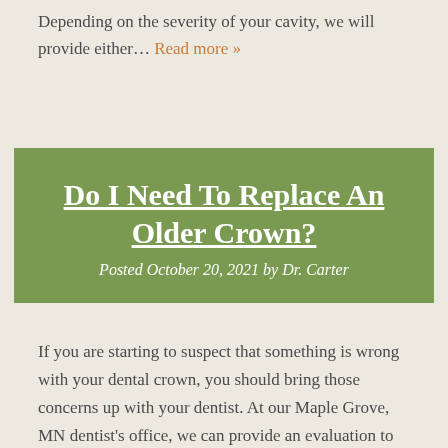Depending on the severity of your cavity, we will provide either… Read more »
Do I Need To Replace An Older Crown?
Posted October 20, 2021 by Dr. Carter
If you are starting to suspect that something is wrong with your dental crown, you should bring those concerns up with your dentist. At our Maple Grove, MN dentist's office, we can provide an evaluation to determine what kind of work is needed to make sure that your tooth remains safe. A restoration that is…